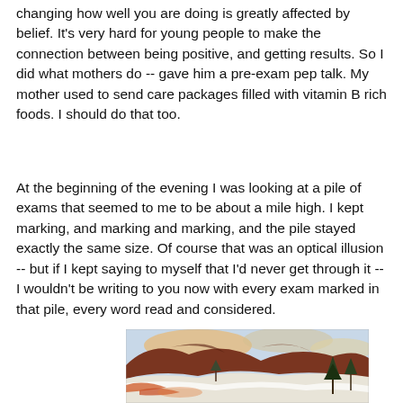changing how well you are doing is greatly affected by belief. It's very hard for young people to make the connection between being positive, and getting results. So I did what mothers do -- gave him a pre-exam pep talk. My mother used to send care packages filled with vitamin B rich foods. I should do that too.
At the beginning of the evening I was looking at a pile of exams that seemed to me to be about a mile high. I kept marking, and marking and marking, and the pile stayed exactly the same size. Of course that was an optical illusion -- but if I kept saying to myself that I'd never get through it -- I wouldn't be writing to you now with every exam marked in that pile, every word read and considered.
[Figure (photo): A landscape painting or photograph showing a snowy winter scene with mountains or hills in the background, reddish-brown terrain, snow on the ground, and trees on the right side. Warm orange and cool blue tones.]